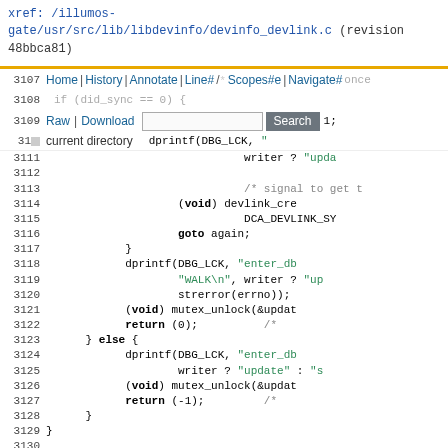xref: /illumos-gate/usr/src/lib/libdevinfo/devinfo_devlink.c (revision 48bbca81)
[Figure (screenshot): Navigation bar with Home, History, Annotate, Line#, Scopes#e, Navigate# links and Raw, Download, Search controls and current directory label, overlaid on source code]
Source code listing of illumos-gate devinfo_devlink.c, lines 3107-3132, showing C code with mutex/lock operations, dprintf calls, devlink_create, goto again, mutex_unlock, return statements and lock.l_type assignments